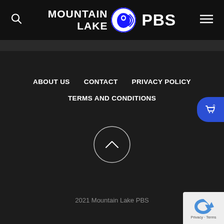[Figure (logo): Mountain Lake PBS logo with PBS head icon]
ABOUT US
CONTACT
PRIVACY POLICY
TERMS AND CONDITIONS
[Figure (illustration): Back to top button - circle with upward chevron arrow]
[Figure (illustration): Shopping cart button (blue, partially visible at right edge)]
2021 Mountain Lake PBS
[Figure (illustration): Google reCAPTCHA badge with Privacy and Terms links]